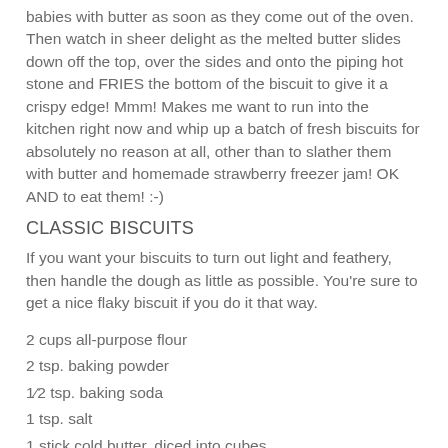babies with butter as soon as they come out of the oven. Then watch in sheer delight as the melted butter slides down off the top, over the sides and onto the piping hot stone and FRIES the bottom of the biscuit to give it a crispy edge! Mmm! Makes me want to run into the kitchen right now and whip up a batch of fresh biscuits for absolutely no reason at all, other than to slather them with butter and homemade strawberry freezer jam! OK AND to eat them! :-)
CLASSIC BISCUITS
If you want your biscuits to turn out light and feathery, then handle the dough as little as possible. You're sure to get a nice flaky biscuit if you do it that way.
2 cups all-purpose flour
2 tsp. baking powder
1/2 tsp. baking soda
1 tsp. salt
1 stick cold butter, diced into cubes